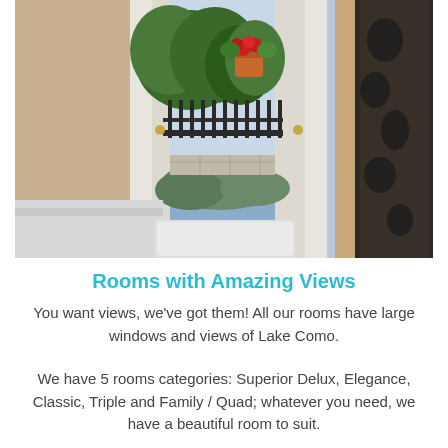[Figure (photo): Hotel room balcony door open to a wrought-iron railing with hanging flower pots (red geraniums) and lush green trees, with a view of Lake Como beyond. Room interior shows white bed linens and a floral curtain on the right.]
Rooms with Amazing Views
You want views, we've got them! All our rooms have large windows and views of Lake Como.
We have 5 rooms categories: Superior Delux, Elegance, Classic, Triple and Family / Quad; whatever you need, we have a beautiful room to suit.
The Superior, Elegance and Family...